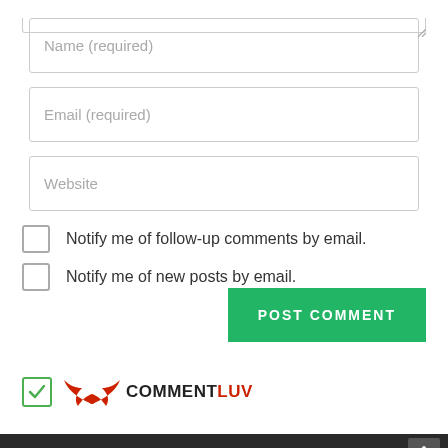[Figure (screenshot): Web comment form with Name, Email, Website input fields, two notification checkboxes, a POST COMMENT button, and CommentLuv logo with checked checkbox]
Name (required)
Email (required)
Website
Notify me of follow-up comments by email.
Notify me of new posts by email.
POST COMMENT
[Figure (logo): CommentLuv logo with red wing graphic and COMMENT in black LUV in red text, with green checked checkbox on the left]